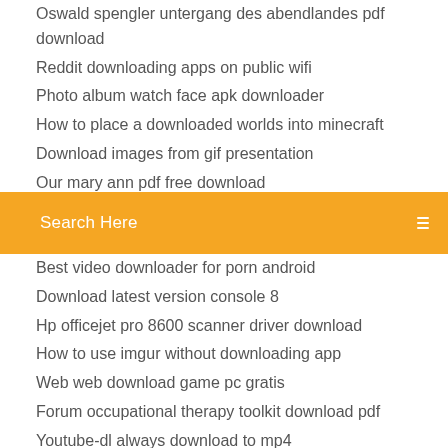Oswald spengler untergang des abendlandes pdf download
Reddit downloading apps on public wifi
Photo album watch face apk downloader
How to place a downloaded worlds into minecraft
Download images from gif presentation
Our mary ann pdf free download
Search Here
Best video downloader for porn android
Download latest version console 8
Hp officejet pro 8600 scanner driver download
How to use imgur without downloading app
Web web download game pc gratis
Forum occupational therapy toolkit download pdf
Youtube-dl always download to mp4
Plies and kodak black new fema download torrent
Astm c476 pdf free download